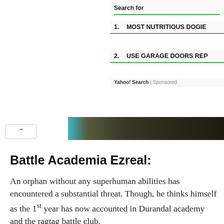Search for
1. MOST NUTRITIOUS DOGIE
2. USE GARAGE DOORS REP
Yahoo! Search | Sponsored
[Figure (screenshot): Dark photographic image strip showing a scene]
Battle Academia Ezreal:
An orphan without any superhuman abilities has encountered a substantial threat. Though, he thinks himself as the 1st year has now accounted in Durandal academy and the ragtag battle club.